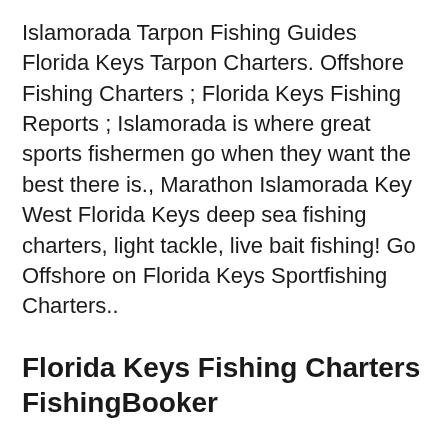Islamorada Tarpon Fishing Guides Florida Keys Tarpon Charters. Offshore Fishing Charters ; Florida Keys Fishing Reports ; Islamorada is where great sports fishermen go when they want the best there is., Marathon Islamorada Key West Florida Keys deep sea fishing charters, light tackle, live bait fishing! Go Offshore on Florida Keys Sportfishing Charters..
Florida Keys Fishing Charters FishingBooker
Florida Keys Fly Fishing Guides Capt islanderresort. Islamorada and Key Largo Fishing Charters offered on our